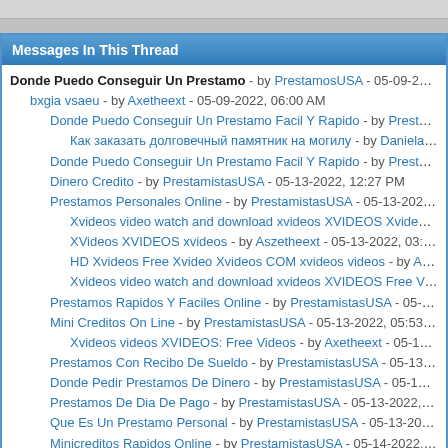Messages In This Thread
Donde Puedo Conseguir Un Prestamo - by PrestamosUSA - 05-09-2022, 05:57
bxgia vsaeu - by Axetheext - 05-09-2022, 06:00 AM
Donde Puedo Conseguir Un Prestamo Facil Y Rapido - by PrestamistasUSA
Как заказать долговечный памятник на могилу - by DanielaGelve - 05
Donde Puedo Conseguir Un Prestamo Facil Y Rapido - by PrestamistasUSA
Dinero Credito - by PrestamistasUSA - 05-13-2022, 12:27 PM
Prestamos Personales Online - by PrestamistasUSA - 05-13-2022, 02:37 PM
Xvideos video watch and download xvideos XVIDEOS Xvideo free -
XVideos XVIDEOS xvideos - by Aszetheext - 05-13-2022, 03:43 PM
HD Xvideos Free Xvideo Xvideos COM xvideos videos - by Axetheext
Xvideos video watch and download xvideos XVIDEOS Free Videos -
Prestamos Rapidos Y Faciles Online - by PrestamistasUSA - 05-13-2022, 05
Mini Creditos On Line - by PrestamistasUSA - 05-13-2022, 05:53 PM
Xvideos videos XVIDEOS: Free Videos - by Axetheext - 05-13-2022, 07:2
Prestamos Con Recibo De Sueldo - by PrestamistasUSA - 05-13-2022, 07:45
Donde Pedir Prestamos De Dinero - by PrestamistasUSA - 05-13-2022, 08:5
Prestamos De Dia De Pago - by PrestamistasUSA - 05-13-2022, 09:28 PM
Que Es Un Prestamo Personal - by PrestamistasUSA - 05-13-2022, 11:30 PM
Minicreditos Rapidos Online - by PrestamistasUSA - 05-14-2022, 09:13 AM
Prestamo Capital Privado - by PrestamistasUSA - 05-14-2022, 09:23 AM